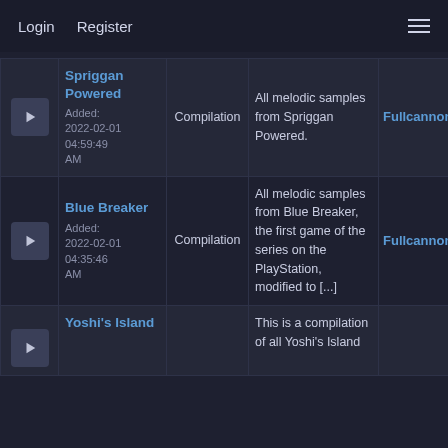Login   Register   ≡
|  | Name | Type | Description | User |
| --- | --- | --- | --- | --- |
| ▶ | Spriggan Powered
Added: 2022-02-01 04:59:49 AM | Compilation | All melodic samples from Spriggan Powered. | Fullcannon |
| ▶ | Blue Breaker
Added: 2022-02-01 04:35:46 AM | Compilation | All melodic samples from Blue Breaker, the first game of the series on the PlayStation, modified to [...] | Fullcannon |
| ▶ | Yoshi's Island |  | This is a compilation of all Yoshi's Island |  |